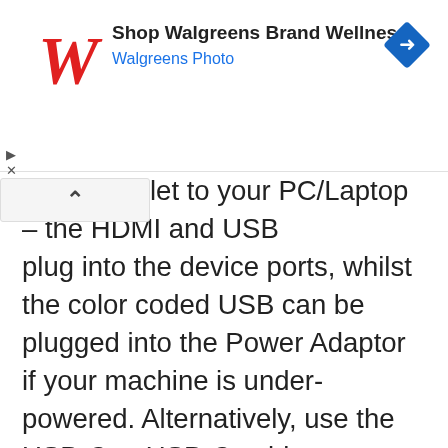[Figure (screenshot): Walgreens advertisement banner with red cursive W logo, text 'Shop Walgreens Brand Wellness' and 'Walgreens Photo' in blue, and a blue diamond navigation icon on the right.]
let to your PC/Laptop – the HDMI and USB plug into the device ports, whilst the color coded USB can be plugged into the Power Adaptor if your machine is under-powered. Alternatively, use the USB-C to USB-C cable to connect to a compatible Android device – see HUION website for a list of compatible devices. Drawing on a mobile phone isn't something I can see myself doing in the foreseeable future, but it has it's uses and I'm sure someone out there will benefit… ☺